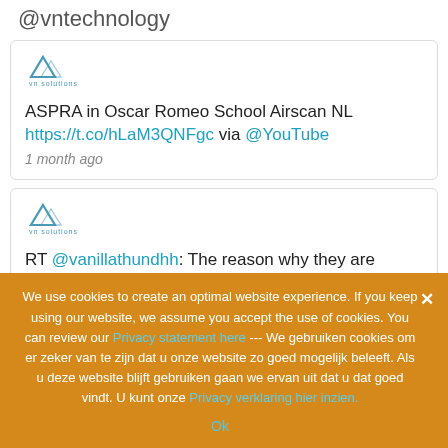@vntechnology
[Figure (logo): VN Solutions logo - mountain/triangle icon with text]
ASPRA in Oscar Romeo School Airscan NL https://t.co/hLaM3QNFgc via @YouTube
1 month ago
[Figure (logo): VN Solutions logo - mountain/triangle icon with text]
RT @vanillathundhh: The reason why they are designed this way is that they are suitable for event organisers. The flight cases are rate…
We use cookies to create an optimal website experience. If you keep using our website, we assume you accept the use of cookies. You can review our Privacy statement here --- We gebruiken cookies om er zeker van te zijn dat u onze website zo goed mogelijk beleeft. Als u deze website blijft gebruiken gaan we ervan uit dat u dat goed vindt. U kunt onze Privacy verklaring hier inzien.
Ok